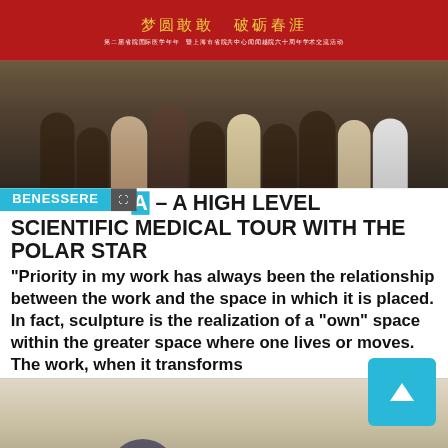[Figure (photo): Group photo of people at a medical conference with a red Chinese banner in the background]
FROM CHINA – A HIGH LEVEL SCIENTIFIC MEDICAL TOUR WITH THE POLAR STAR
"Priority in my work has always been the relationship between the work and the space in which it is placed. In fact, sculpture is the realization of a "own" space within the greater space where one lives or moves. The work, when it transforms
[Figure (photo): People at a ribbon-cutting ceremony at an exhibition or event]
exhibition will be held at